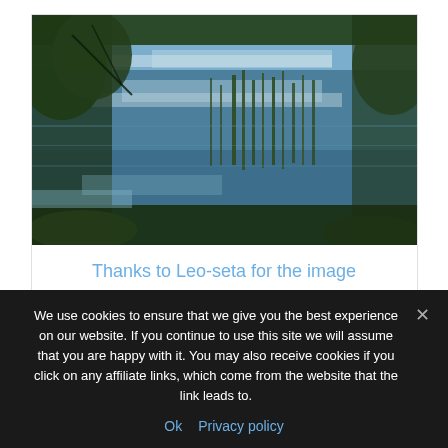[Figure (photo): A serene lake surrounded by pine forest with reflections of clouds and reeds in the calm blue water, photographed in a natural wilderness setting.]
Thanks to Leo-seta for the image
We use cookies to ensure that we give you the best experience on our website. If you continue to use this site we will assume that you are happy with it. You may also receive cookies if you click on any affiliate links, which come from the website that the link leads to.
Ok  Privacy policy